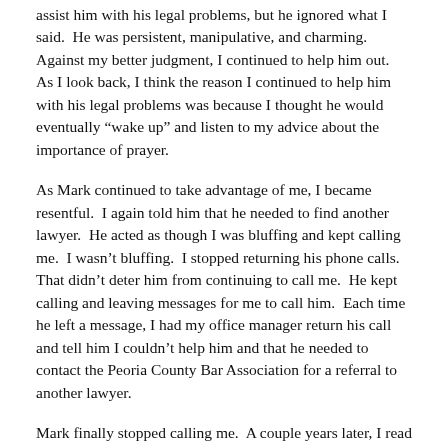assist him with his legal problems, but he ignored what I said.  He was persistent, manipulative, and charming.  Against my better judgment, I continued to help him out.  As I look back, I think the reason I continued to help him with his legal problems was because I thought he would eventually “wake up” and listen to my advice about the importance of prayer.
As Mark continued to take advantage of me, I became resentful.  I again told him that he needed to find another lawyer.  He acted as though I was bluffing and kept calling me.  I wasn’t bluffing.  I stopped returning his phone calls.  That didn’t deter him from continuing to call me.  He kept calling and leaving messages for me to call him.  Each time he left a message, I had my office manager return his call and tell him I couldn’t help him and that he needed to contact the Peoria County Bar Association for a referral to another lawyer.
Mark finally stopped calling me.  A couple years later, I read an article in the local newspaper that he had been arrested for committing a serious crime.  He ended up pleading guilty to the crime and spent several months in the county jail.  When he got out of jail, he moved to another state. Meanwhile, contact from some of my own...